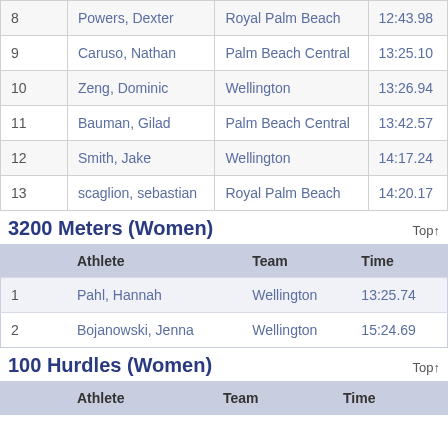|  | Athlete | Team | Time |
| --- | --- | --- | --- |
| 8 | Powers, Dexter | Royal Palm Beach | 12:43.98 |
| 9 | Caruso, Nathan | Palm Beach Central | 13:25.10 |
| 10 | Zeng, Dominic | Wellington | 13:26.94 |
| 11 | Bauman, Gilad | Palm Beach Central | 13:42.57 |
| 12 | Smith, Jake | Wellington | 14:17.24 |
| 13 | scaglion, sebastian | Royal Palm Beach | 14:20.17 |
3200 Meters (Women)
|  | Athlete | Team | Time |
| --- | --- | --- | --- |
| 1 | Pahl, Hannah | Wellington | 13:25.74 |
| 2 | Bojanowski, Jenna | Wellington | 15:24.69 |
100 Hurdles (Women)
|  | Athlete | Team | Time |
| --- | --- | --- | --- |